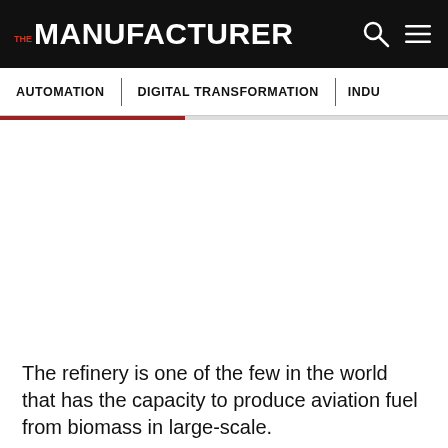THE MANUFACTURER
AUTOMATION | DIGITAL TRANSFORMATION | INDU
[Figure (photo): Large image area (blank/white) showing a refinery or industrial plant]
The refinery is one of the few in the world that has the capacity to produce aviation fuel from biomass in large-scale.